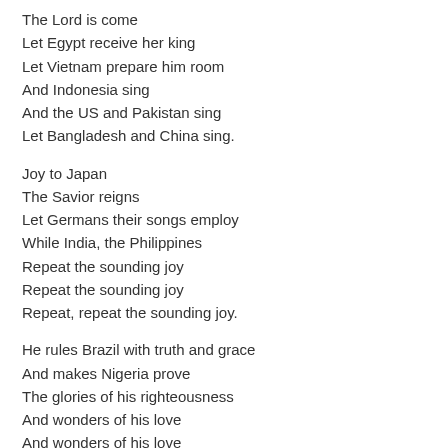The Lord is come
Let Egypt receive her king
Let Vietnam prepare him room
And Indonesia sing
And the US and Pakistan sing
Let Bangladesh and China sing.
Joy to Japan
The Savior reigns
Let Germans their songs employ
While India, the Philippines
Repeat the sounding joy
Repeat the sounding joy
Repeat, repeat the sounding joy.
He rules Brazil with truth and grace
And makes Nigeria prove
The glories of his righteousness
And wonders of his love
And wonders of his love
And wonders, wonders of his love.